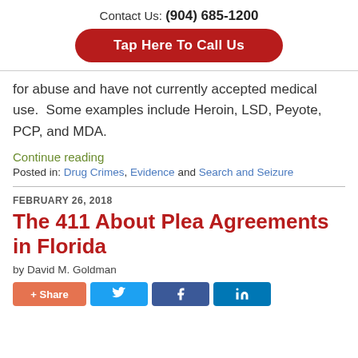Contact Us: (904) 685-1200
Tap Here To Call Us
for abuse and have not currently accepted medical use.  Some examples include Heroin, LSD, Peyote, PCP, and MDA.
Continue reading
Posted in: Drug Crimes, Evidence and Search and Seizure
FEBRUARY 26, 2018
The 411 About Plea Agreements in Florida
by David M. Goldman
+ Share